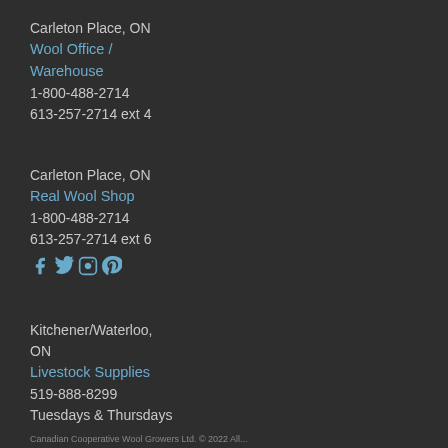Carleton Place, ON
Wool Office / Warehouse
1-800-488-2714
613-257-2714 ext 4
Carleton Place, ON
Real Wool Shop
1-800-488-2714
613-257-2714 ext 6
[Figure (other): Social media icons: Facebook, Twitter, Instagram, Pinterest]
Kitchener/Waterloo, ON
Livestock Supplies
519-888-8299
Tuesdays & Thursdays
Canadian Cooperative Wool Growers Ltd. © 2022 All...